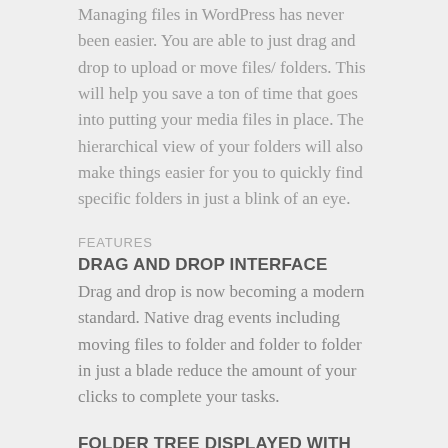Managing files in WordPress has never been easier. You are able to just drag and drop to upload or move files/ folders. This will help you save a ton of time that goes into putting your media files in place. The hierarchical view of your folders will also make things easier for you to quickly find specific folders in just a blink of an eye.
FEATURES
DRAG AND DROP INTERFACE
Drag and drop is now becoming a modern standard. Native drag events including moving files to folder and folder to folder in just a blade reduce the amount of your clicks to complete your tasks.
FOLDER TREE DISPLAYED WITH TOP-NOTCH DESIGN
We follow the latest trends in composing icons, buttons, labels, sections and draggable elements.